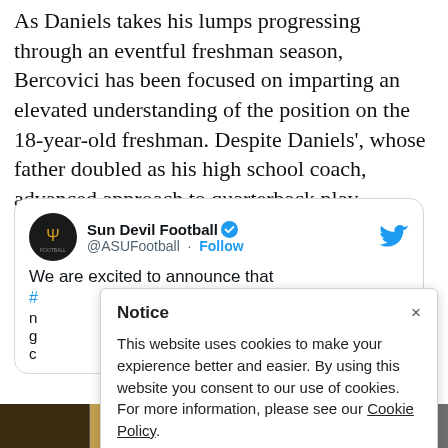As Daniels takes his lumps progressing through an eventful freshman season, Bercovici has been focused on imparting an elevated understanding of the position on the 18-year-old freshman. Despite Daniels', whose father doubled as his high school coach, advanced approach to quarterback play, Bercovici still sees avenues for improvement.
[Figure (screenshot): Embedded tweet from @ASUFootball (Sun Devil Football) with verified badge, Follow link, Twitter bird icon, and partial tweet text 'We are excited to announce that #...' partially obscured by cookie notice]
Notice
This website uses cookies to make your expierence better and easier. By using this website you consent to our use of cookies. For more information, please see our Cookie Policy.
[Figure (photo): Bottom image strip showing partial photographs]